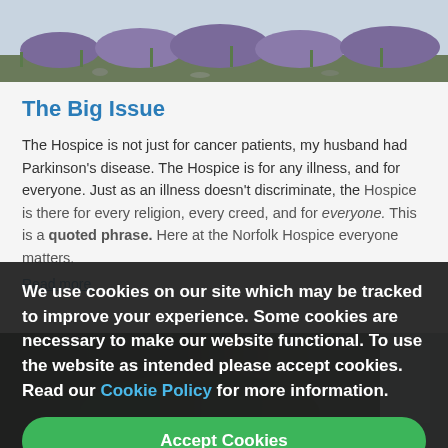[Figure (photo): Top portion of a lavender field photograph, showing purple lavender plants and green foliage against a light sky]
The Big Issue
The Hospice is not just for cancer patients, my husband had Parkinson's disease. The Hospice is for any illness, and for everyone. Just as an illness doesn't discriminate, the Hospice is there for every religion, every creed, and for everyone. This is a quoted phrase. Here at the Norfolk Hospice everyone matters.
Read more
[Figure (photo): Partial bottom photograph showing people at what appears to be a craft or activity table]
We use cookies on our site which may be tracked to improve your experience. Some cookies are necessary to make our website functional. To use the website as intended please accept cookies. Read our Cookie Policy for more information.
Accept Cookies